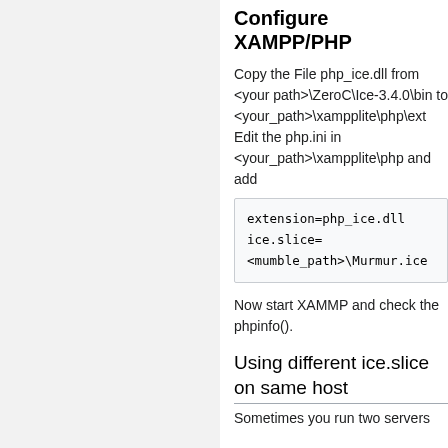Configure XAMPP/PHP
Copy the File php_ice.dll from <your path>\ZeroC\Ice-3.4.0\bin to <your_path>\xampplite\php\ext Edit the php.ini in <your_path>\xampplite\php and add
extension=php_ice.dll
ice.slice=
<mumble_path>\Murmur.ice
Now start XAMMP and check the phpinfo().
Using different ice.slice on same host
Sometimes you run two servers